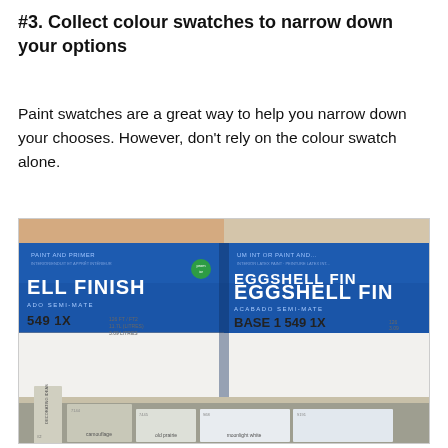#3. Collect colour swatches to narrow down your options
Paint swatches are a great way to help you narrow down your chooses. However, don’t rely on the colour swatch alone.
[Figure (photo): Two blue paint cans labeled 'EGGSHELL FINISH / ACABADO SEMI-MATE' and 'EGGSHELL FINISH BASE 1', with product codes '549 1X', sitting on a surface with colour paint swatches below them showing colours including 'camouflage', 'old prairie', and 'moonlight white'.]